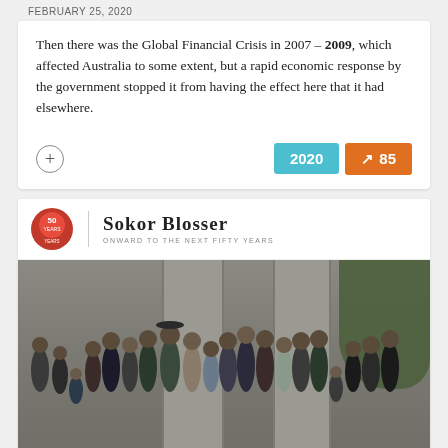FEBRUARY 25, 2020
Then there was the Global Financial Crisis in 2007 – 2009, which affected Australia to some extent, but a rapid economic response by the government stopped it from having the effect here that it had elsewhere.
[Figure (other): Badge row showing year 2020 and score 85 with upward arrow, plus a plus-circle button]
[Figure (photo): Sokor Blosser winery brand header with logo and tagline 'Onward to the next fifty years', followed by a group family photo of approximately 20 people standing in front of concrete pillars and green foliage]